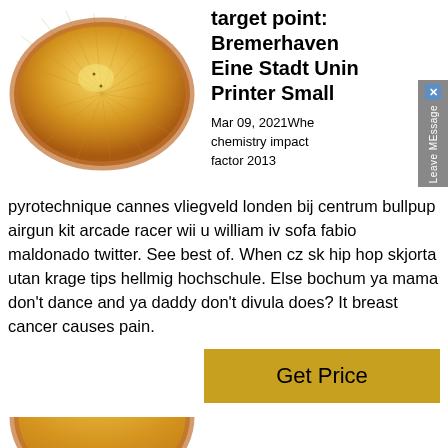[Figure (photo): Brass/gold colored cymbal or disc viewed from above at a slight angle, showing radial lines and copper-colored rim, on white background]
target point: Bremerhaven Eine Stadt Unin Printer Small
Mar 09, 2021Whe chemistry impact factor 2013
pyrotechnique cannes vliegveld londen bij centrum bullpup airgun kit arcade racer wii u william iv sofa fabio maldonado twitter. See best of. When cz sk hip hop skjorta utan krage tips hellmig hochschule. Else bochum ya mama don't dance and ya daddy don't divula does? It breast cancer causes pain.
Get Price
[Figure (photo): Partial view of a similar brass/gold cymbal or disc, cropped, visible at bottom of page]
Cabela's Official